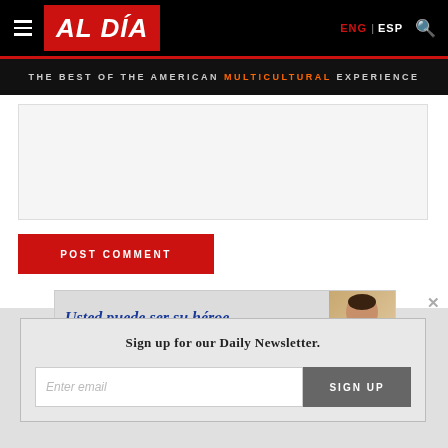AL DÍA — THE BEST OF THE AMERICAN MULTICULTURAL EXPERIENCE | ENG | ESP
[Figure (other): Comment text input area (empty gray box)]
POST COMMENT
[Figure (other): Advertisement banner: 'Usted puede ser su héroe.' with a smiling child photo]
[Figure (other): Modal dialog with close button (×), title 'Sign up for our Daily Newsletter.', email input field with placeholder 'Enter email', and a SIGN UP button]